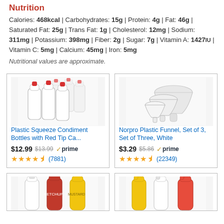Nutrition
Calories: 468kcal | Carbohydrates: 15g | Protein: 4g | Fat: 46g | Saturated Fat: 25g | Trans Fat: 1g | Cholesterol: 12mg | Sodium: 311mg | Potassium: 398mg | Fiber: 2g | Sugar: 7g | Vitamin A: 1427IU | Vitamin C: 5mg | Calcium: 45mg | Iron: 5mg
Nutritional values are approximate.
[Figure (photo): Multiple white plastic squeeze condiment bottles with red tip caps]
Plastic Squeeze Condiment Bottles with Red Tip Ca...
$12.99  $13.99  prime  4.5 stars (7881)
[Figure (photo): Three white plastic funnels of different sizes nested together]
Norpro Plastic Funnel, Set of 3, Set of Three, White
$3.29  $5.86  prime  4.5 stars (22349)
[Figure (photo): White, red, and yellow squeeze condiment bottles partially visible]
[Figure (photo): Yellow, white, and red squeeze condiment bottles partially visible]